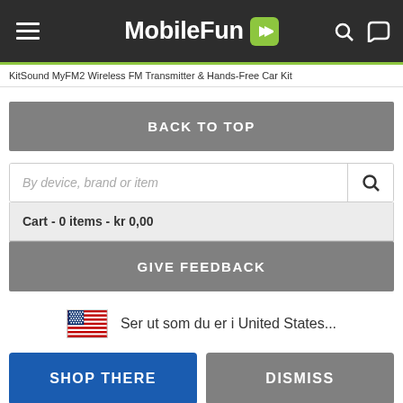MobileFun
KitSound MyFM2 Wireless FM Transmitter & Hands-Free Car Kit
BACK TO TOP
By device, brand or item
Cart - 0 items - kr 0,00
GIVE FEEDBACK
Ser ut som du er i United States...
SHOP THERE
DISMISS